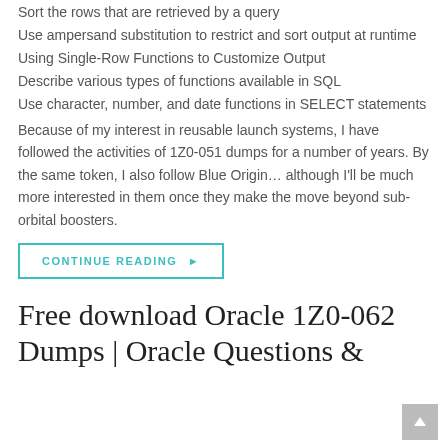Sort the rows that are retrieved by a query
Use ampersand substitution to restrict and sort output at runtime
Using Single-Row Functions to Customize Output
Describe various types of functions available in SQL
Use character, number, and date functions in SELECT statements
Because of my interest in reusable launch systems, I have followed the activities of 1Z0-051 dumps for a number of years. By the same token, I also follow Blue Origin… although I'll be much more interested in them once they make the move beyond sub-orbital boosters.
CONTINUE READING ▶
Free download Oracle 1Z0-062 Dumps | Oracle Questions &